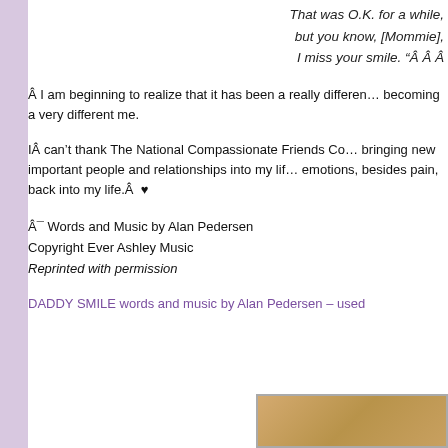That was O.K. for a while, but you know, [Mommie], I miss your smile. “Â Â  Â
Â I am beginning to realize that it has been a really different me. becoming a very different me.
IÂ can’t thank The National Compassionate Friends Co bringing new important people and relationships into my life emotions, besides pain, back into my life.Â  ♥
Â¯ Words and Music by Alan Pedersen
Copyright Ever Ashley Music
Reprinted with permission
DADDY SMILE words and music by Alan Pedersen – used
[Figure (photo): Partial photo showing what appears to be a document or card with a warm brown/golden background]